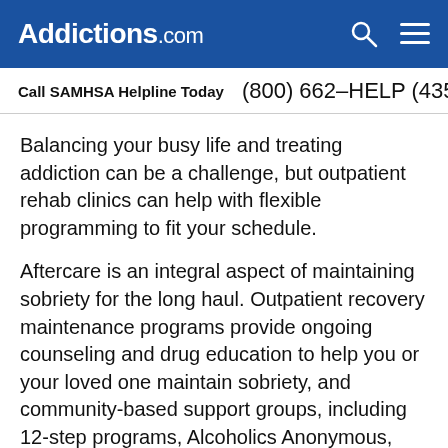Addictions.com
Call SAMHSA Helpline Today  (800) 662-HELP (4357)
Balancing your busy life and treating addiction can be a challenge, but outpatient rehab clinics can help with flexible programming to fit your schedule.
Aftercare is an integral aspect of maintaining sobriety for the long haul. Outpatient recovery maintenance programs provide ongoing counseling and drug education to help you or your loved one maintain sobriety, and community-based support groups, including 12-step programs, Alcoholics Anonymous, and Narcotics Anonymous, can supplement your aftercare plan with extra social support. These programs are offered consistently, at